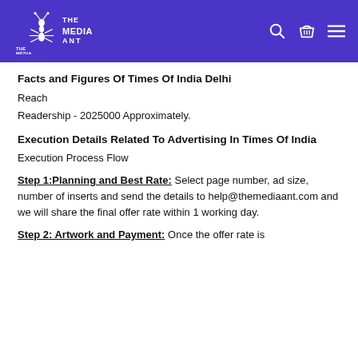The Media Ant
Facts and Figures Of Times Of India Delhi
Reach
Readership - 2025000 Approximately.
Execution Details Related To Advertising In Times Of India
Execution Process Flow
Step 1:Planning and Best Rate: Select page number, ad size, number of inserts and send the details to help@themediaant.com and we will share the final offer rate within 1 working day.
Step 2: Artwork and Payment: Once the offer rate is